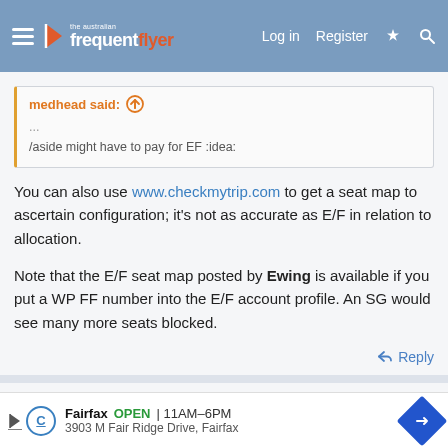the australian frequent flyer — Log in  Register
medhead said: ...
/aside might have to pay for EF :idea:
You can also use www.checkmytrip.com to get a seat map to ascertain configuration; it's not as accurate as E/F in relation to allocation.
Note that the E/F seat map posted by Ewing is available if you put a WP FF number into the E/F account profile. An SG would see many more seats blocked.
Reply
Ewing
Fairfax OPEN 11AM–6PM 3903 M Fair Ridge Drive, Fairfax